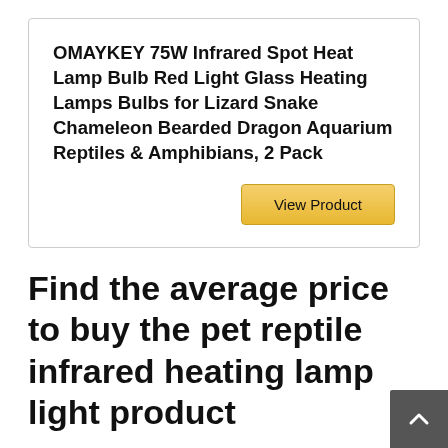OMAYKEY 75W Infrared Spot Heat Lamp Bulb Red Light Glass Heating Lamps Bulbs for Lizard Snake Chameleon Bearded Dragon Aquarium Reptiles & Amphibians, 2 Pack
[Figure (other): View Product button — a gold/yellow rounded rectangle button with text 'View Product']
Find the average price to buy the pet reptile infrared heating lamp light product
Have you been wondering what the cost is to